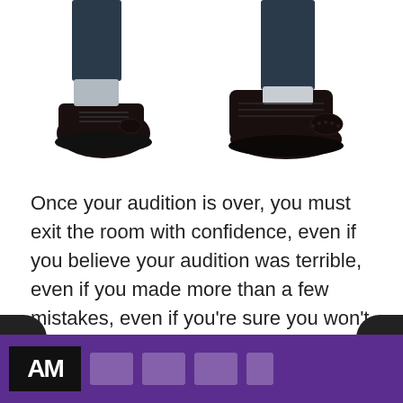[Figure (photo): Lower legs and feet of a person wearing dark trousers and dark leather brogue shoes, photographed from calves down against a white background. Two positions shown side by side.]
Once your audition is over, you must exit the room with confidence, even if you believe your audition was terrible, even if you made more than a few mistakes, even if you’re sure you won’t get the part. Don’t leave anyone in the audition room with the impression that you are not 100% confident in the performance you gave.
[Figure (other): Purple footer bar with a black logo block showing stylized letters and several white/translucent icon boxes representing social media or navigation icons.]